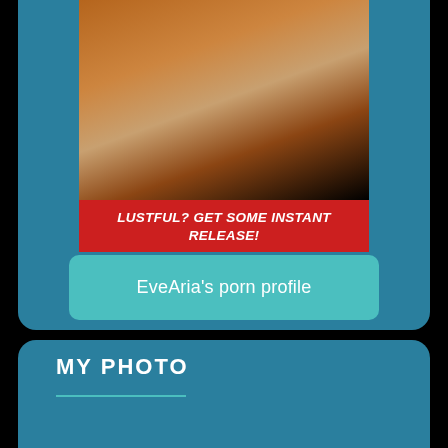[Figure (photo): Adult advertisement image with red banner overlay reading LUSTFUL? GET SOME INSTANT RELEASE!]
EveAria's porn profile
MY PHOTO